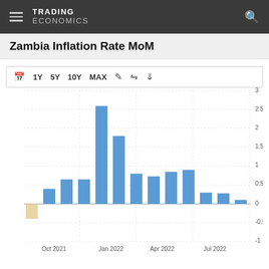TRADING ECONOMICS
Zambia Inflation Rate MoM
[Figure (bar-chart): Zambia Inflation Rate MoM]